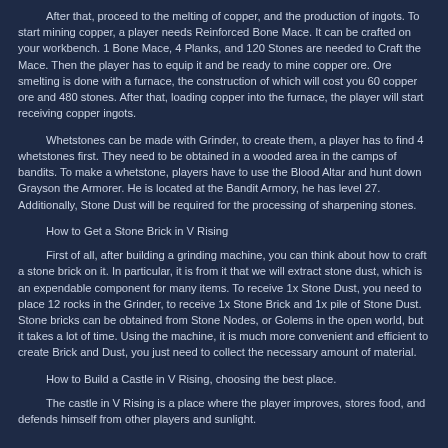After that, proceed to the melting of copper, and the production of ingots. To start mining copper, a player needs Reinforced Bone Mace. It can be crafted on your workbench. 1 Bone Mace, 4 Planks, and 120 Stones are needed to Craft the Mace. Then the player has to equip it and be ready to mine copper ore. Ore smelting is done with a furnace, the construction of which will cost you 60 copper ore and 480 stones. After that, loading copper into the furnace, the player will start receiving copper ingots.
Whetstones can be made with Grinder, to create them, a player has to find 4 whetstones first. They need to be obtained in a wooded area in the camps of bandits. To make a whetstone, players have to use the Blood Altar and hunt down Grayson the Armorer. He is located at the Bandit Armory, he has level 27. Additionally, Stone Dust will be required for the processing of sharpening stones.
How to Get a Stone Brick in V Rising
First of all, after building a grinding machine, you can think about how to craft a stone brick on it. In particular, it is from it that we will extract stone dust, which is an expendable component for many items. To receive 1x Stone Dust, you need to place 12 rocks in the Grinder, to receive 1x Stone Brick and 1x pile of Stone Dust. Stone bricks can be obtained from Stone Nodes, or Golems in the open world, but it takes a lot of time. Using the machine, it is much more convenient and efficient to create Brick and Dust, you just need to collect the necessary amount of material.
How to Build a Castle in V Rising, choosing the best place.
The castle in V Rising is a place where the player improves, stores food, and defends himself from other players and sunlight.